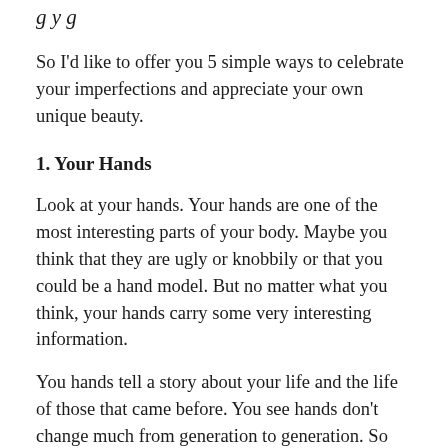g y g
So I'd like to offer you 5 simple ways to celebrate your imperfections and appreciate your own unique beauty.
1. Your Hands
Look at your hands. Your hands are one of the most interesting parts of your body. Maybe you think that they are ugly or knobbily or that you could be a hand model. But no matter what you think, your hands carry some very interesting information.
You hands tell a story about your life and the life of those that came before. You see hands don't change much from generation to generation. So the hands you look at, look a lot like your parents hands, your